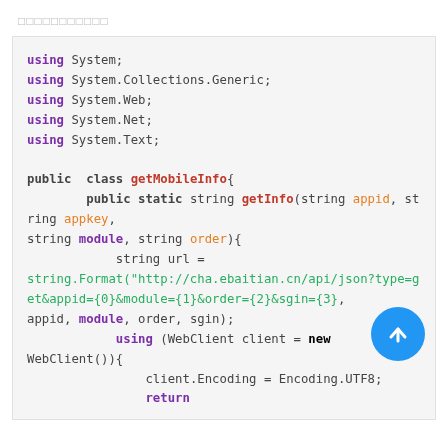□□□□□□□□□□□
[Figure (screenshot): Code block showing C# using directives and a public class getMobileInfo with a static method getInfo that takes appid, appkey, module, order parameters, constructs a URL string with string.Format, and uses WebClient with Encoding.UTF8.]